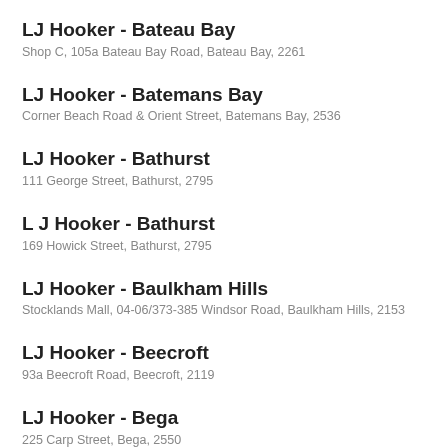LJ Hooker - Bateau Bay
Shop C, 105a Bateau Bay Road, Bateau Bay, 2261
LJ Hooker - Batemans Bay
Corner Beach Road & Orient Street, Batemans Bay, 2536
LJ Hooker - Bathurst
111 George Street, Bathurst, 2795
L J Hooker - Bathurst
169 Howick Street, Bathurst, 2795
LJ Hooker - Baulkham Hills
Stocklands Mall, 04-06/373-385 Windsor Road, Baulkham Hills, 2153
LJ Hooker - Beecroft
93a Beecroft Road, Beecroft, 2119
LJ Hooker - Bega
225 Carp Street, Bega, 2550